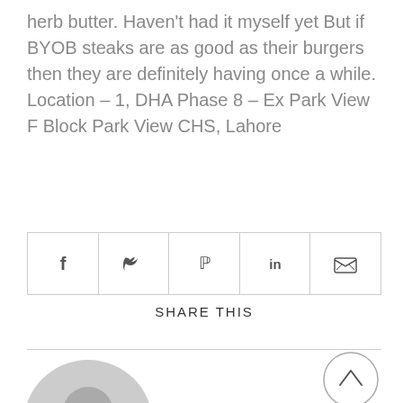herb butter. Haven't had it myself yet But if BYOB steaks are as good as their burgers then they are definitely having once a while. Location – 1, DHA Phase 8 – Ex Park View F Block Park View CHS, Lahore
[Figure (other): Social share buttons bar with icons for Facebook (f), Twitter (bird), Pinterest (p), LinkedIn (in), and Email (envelope), followed by SHARE THIS label below]
[Figure (other): Gray default user avatar silhouette circle]
[Figure (other): Scroll-to-top button: circle with upward arrow]